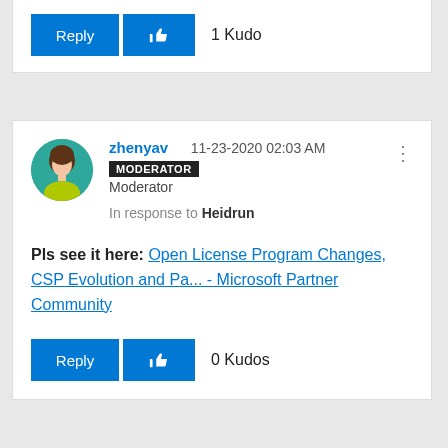[Figure (other): Reply and Kudo buttons with '1 Kudo' count from a previous forum post (partial, top of page)]
[Figure (other): User avatar: illustrated avatar of a woman with brown hair and yellow-green top on teal background]
zhenyav   11-23-2020 02:03 AM
MODERATOR
Moderator
In response to Heidrun
Pls see it here: Open License Program Changes, CSP Evolution and Pa... - Microsoft Partner Community
[Figure (other): Reply and Kudo buttons with '0 Kudos' count]